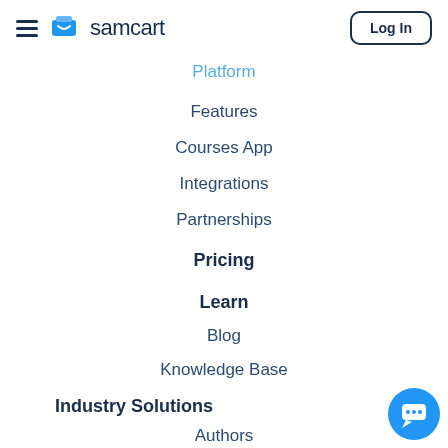samcart — Log In
Platform
Features
Courses App
Integrations
Partnerships
Pricing
Learn
Blog
Knowledge Base
Industry Solutions
Authors